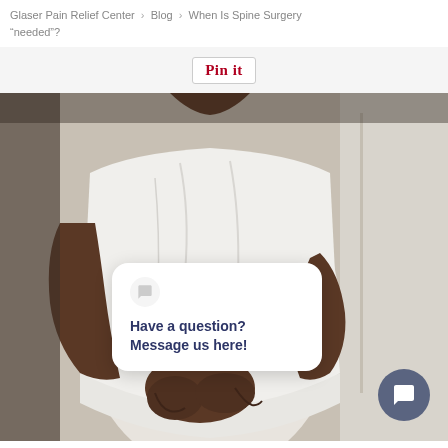Glaser Pain Relief Center > Blog > When Is Spine Surgery “needed”?
[Figure (other): Pin it button with Pinterest-style cursive text inside a bordered box]
[Figure (photo): Person in white shirt holding their lower back in pain, with a chat popup overlay reading 'Have a question? Message us here!' and a chat FAB button in the lower right corner]